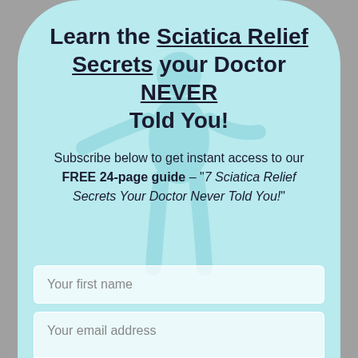Learn the Sciatica Relief Secrets your Doctor NEVER Told You!
Subscribe below to get instant access to our FREE 24-page guide – "7 Sciatica Relief Secrets Your Doctor Never Told You!"
[Figure (illustration): Faint watermark-style illustration of a human figure (doctor/medical figure) with an outstretched arm, visible in the background]